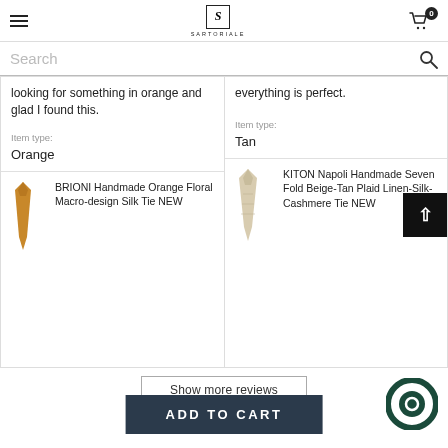SARTORIALE — navigation header with hamburger menu, logo, and cart (0 items)
Search
looking for something in orange and glad I found this.
Item type: Orange
[Figure (illustration): Orange silk tie product thumbnail]
BRIONI Handmade Orange Floral Macro-design Silk Tie NEW
everything is perfect.
Item type: Tan
[Figure (illustration): Beige/tan linen-silk-cashmere tie product thumbnail]
KITON Napoli Handmade Seven Fold Beige-Tan Plaid Linen-Silk-Cashmere Tie NEW
Show more reviews
ADD TO CART